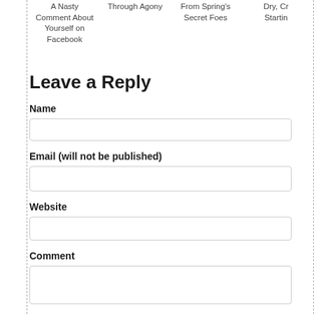A Nasty Comment About Yourself on Facebook
Through Agony
From Spring's Secret Foes
Dry, Cr Starting
Leave a Reply
Name
Email (will not be published)
Website
Comment